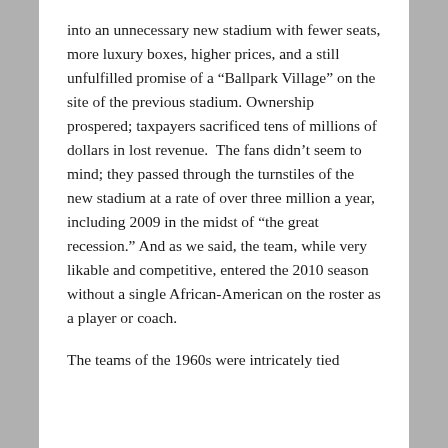into an unnecessary new stadium with fewer seats, more luxury boxes, higher prices, and a still unfulfilled promise of a “Ballpark Village” on the site of the previous stadium. Ownership prospered; taxpayers sacrificed tens of millions of dollars in lost revenue.  The fans didn’t seem to mind; they passed through the turnstiles of the new stadium at a rate of over three million a year, including 2009 in the midst of “the great recession.” And as we said, the team, while very likable and competitive, entered the 2010 season without a single African-American on the roster as a player or coach.
The teams of the 1960s were intricately tied